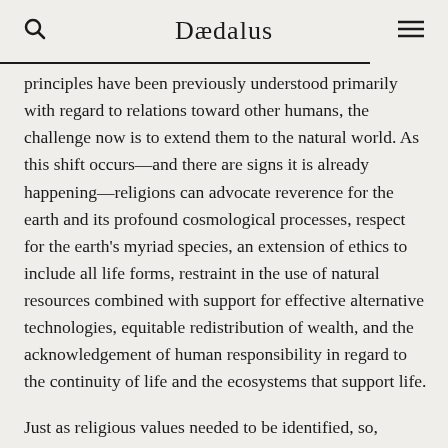Dædalus
principles have been previously understood primarily with regard to relations toward other humans, the challenge now is to extend them to the natural world. As this shift occurs—and there are signs it is already happening—religions can advocate reverence for the earth and its profound cosmological processes, respect for the earth's myriad species, an extension of ethics to include all life forms, restraint in the use of natural resources combined with support for effective alternative technologies, equitable redistribution of wealth, and the acknowledgement of human responsibility in regard to the continuity of life and the ecosystems that support life.
Just as religious values needed to be identified, so,